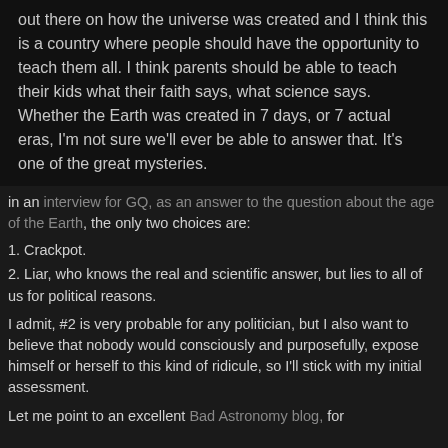out there on how the universe was created and I think this is a country where people should have the opportunity to teach them all. I think parents should be able to teach their kids what their faith says, what science says. Whether the Earth was created in 7 days, or 7 actual eras, I'm not sure we'll ever be able to answer that. It's one of the great mysteries.
in an interview for GQ, as an answer to the question about the age of the Earth, the only two choices are:
1. Crackpot.
2. Liar, who knows the real and scientific answer, but lies to all of us for political reasons.
I admit, #2 is very probable for any politician, but I also want to believe that nobody would consciously and purposefully, expose himself or herself to this kind of ridicule, so I'll stick with my initial assessment.
Let me point to an excellent Bad Astronomy blog, for